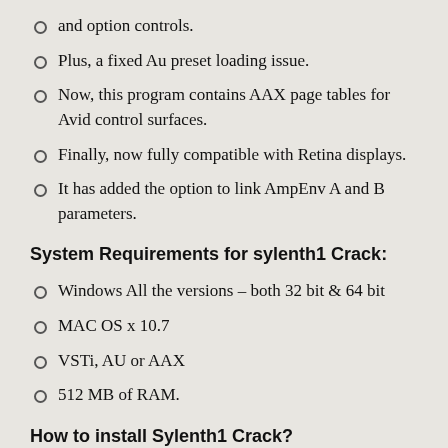and option controls.
Plus, a fixed Au preset loading issue.
Now, this program contains AAX page tables for Avid control surfaces.
Finally, now fully compatible with Retina displays.
It has added the option to link AmpEnv A and B parameters.
System Requirements for sylenth1 Crack:
Windows All the versions – both 32 bit & 64 bit
MAC OS x 10.7
VSTi, AU or AAX
512 MB of RAM.
How to install Sylenth1 Crack?